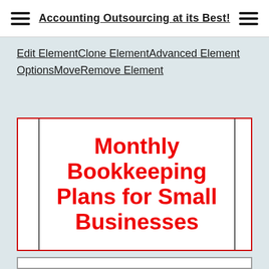Accounting Outsourcing at its Best!
Edit ElementClone ElementAdvanced Element OptionsMoveRemove Element
Monthly Bookkeeping Plans for Small Businesses